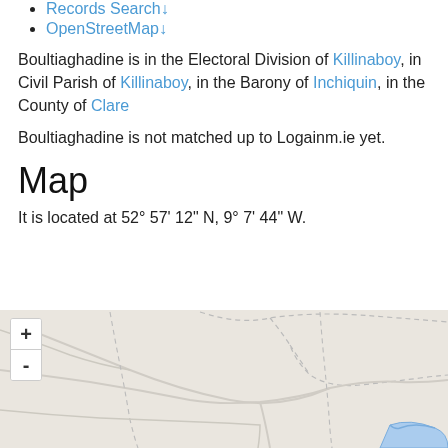Records Search↓
OpenStreetMap↓
Boultiaghadine is in the Electoral Division of Killinaboy, in Civil Parish of Killinaboy, in the Barony of Inchiquin, in the County of Clare
Boultiaghadine is not matched up to Logainm.ie yet.
Map
It is located at 52° 57' 12" N, 9° 7' 44" W.
[Figure (map): OpenStreetMap showing rural area near Boultiaghadine, County Clare, Ireland. Map displays roads and paths with a water feature (blue) visible in the lower right. Zoom controls (+/-) shown in upper left.]